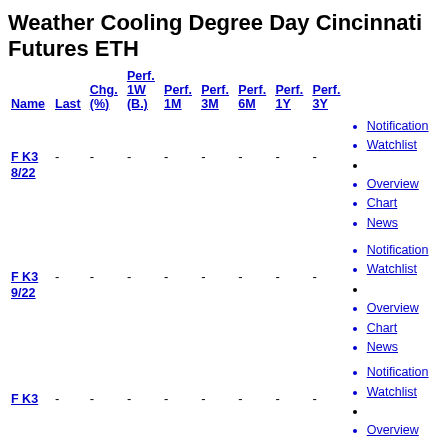Weather Cooling Degree Day Cincinnati Futures ETH
| Name | Last | Chg. (%) | Perf. 1W (B.) | Perf. 1M | Perf. 3M | Perf. 6M | Perf. 1Y | Perf. 3Y |
| --- | --- | --- | --- | --- | --- | --- | --- | --- |
| F K3 8/22 | - | - | - | - | - | - | - |
| F K3 9/22 | - | - | - | - | - | - | - |
| F K3 | - | - | - | - | - | - | - |